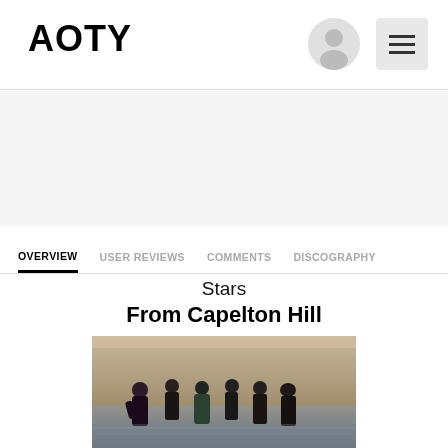AOTY
[Figure (other): Gray ad banner area placeholder]
OVERVIEW  USER REVIEWS  COMMENTS  DISCOGRAPHY
Stars
From Capelton Hill
[Figure (photo): Band photo of Stars standing in shallow water, six members in dark clothing, set against a vintage-toned backdrop]